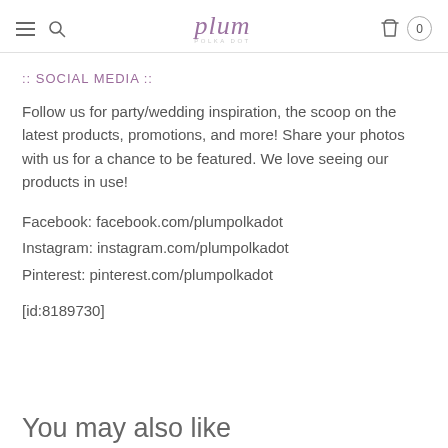plum
:: SOCIAL MEDIA ::
Follow us for party/wedding inspiration, the scoop on the latest products, promotions, and more! Share your photos with us for a chance to be featured. We love seeing our products in use!
Facebook: facebook.com/plumpolkadot
Instagram: instagram.com/plumpolkadot
Pinterest: pinterest.com/plumpolkadot
[id:8189730]
You may also like